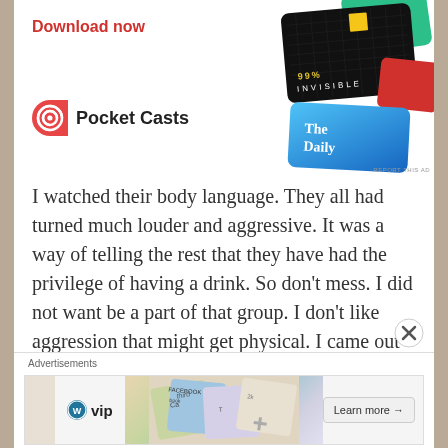[Figure (screenshot): Pocket Casts podcast app advertisement showing 'Download now' text in red, the Pocket Casts logo with icon, and podcast cover art cards including 99% Invisible and The Daily]
I watched their body language. They all had turned much louder and aggressive. It was a way of telling the rest that they have had the privilege of having a drink. So don't mess. I did not want be a part of that group. I don't like aggression that might get physical. I came out of the hostel and decided to take a walk on the path.
[Figure (screenshot): WordPress VIP advertisement banner with 'Advertisements' label, WordPress VIP logo, overlapping social media card images, and 'Learn more' button with arrow]